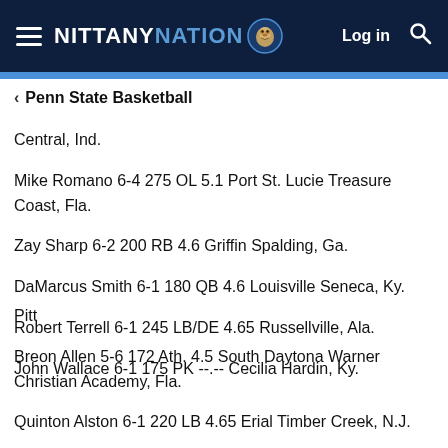NITTANY NATION | Log in
Penn State Basketball
Central, Ind.
Mike Romano 6-4 275 OL 5.1 Port St. Lucie Treasure Coast, Fla.
Zay Sharp 6-2 200 RB 4.6 Griffin Spalding, Ga.
DaMarcus Smith 6-1 180 QB 4.6 Louisville Seneca, Ky.
Robert Terrell 6-1 245 LB/DE 4.65 Russellville, Ala.
John Wallace 6-1 175 PK --.-- Cecilia Hardin, Ky.
Pitt
Breon Allen 5-6 172 Ath. 4.5 South Daytona Warner Christian Academy, Fla.
Quinton Alston 6-1 220 LB 4.65 Erial Timber Creek, N.J.
Bill Belton 5-9 192 Ath. 4.55 Atco Winslow township, N.J.
Jeremiah Bryson 5-8 175 RB 4.4 Smyrna, Tenn.
Terrell Chestnut 5-11 180 Ath. 4.5 Pottstown Pottsgrove, Pa.